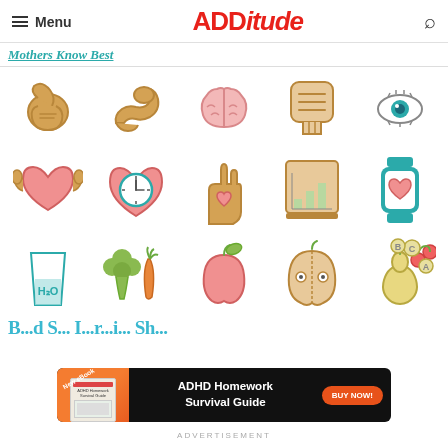Menu | ADDITUDE
Mothers Know Best
[Figure (illustration): Grid of health/wellness icons in three rows: Row 1: stomach, flexed arm/muscle, brain, intestine/gut, eye with lashes. Row 2: heart with muscles, heart with clock/stopwatch, hand with heart, bar chart in frame, smartwatch with heart. Row 3: glass of water (H2O), broccoli and carrot, apple, cut apple with eyes, pear with cherries and vitamin circles (A, B, C).]
B... d S... l... r... Sh...
[Figure (infographic): Advertisement banner: ADHD Homework Survival Guide with BUY NOW button on black background, New eBook badge in orange]
ADVERTISEMENT